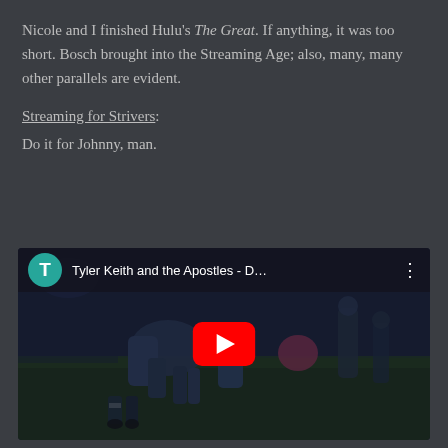Nicole and I finished Hulu's The Great. If anything, it was too short. Bosch brought into the Streaming Age; also, many, many other parallels are evident.
Streaming for Strivers:
Do it for Johnny, man.
[Figure (screenshot): YouTube video embed showing Tyler Keith and the Apostles - D... with a scene of football players on a field at night, teal T channel icon, red YouTube play button in center]